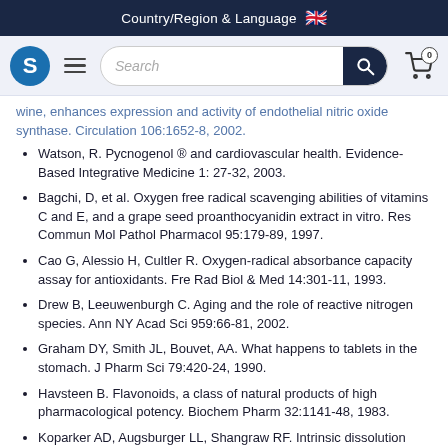Country/Region & Language 🇬🇧
[Figure (screenshot): Website navigation bar with logo S, hamburger menu, search bar, and shopping cart icon with 0 badge]
wine, enhances expression and activity of endothelial nitric oxide synthase. Circulation 106:1652-8, 2002.
Watson, R. Pycnogenol ® and cardiovascular health. Evidence-Based Integrative Medicine 1: 27-32, 2003.
Bagchi, D, et al. Oxygen free radical scavenging abilities of vitamins C and E, and a grape seed proanthocyanidin extract in vitro. Res Commun Mol Pathol Pharmacol 95:179-89, 1997.
Cao G, Alessio H, Cultler R. Oxygen-radical absorbance capacity assay for antioxidants. Fre Rad Biol & Med 14:301-11, 1993.
Drew B, Leeuwenburgh C. Aging and the role of reactive nitrogen species. Ann NY Acad Sci 959:66-81, 2002.
Graham DY, Smith JL, Bouvet, AA. What happens to tablets in the stomach. J Pharm Sci 79:420-24, 1990.
Havsteen B. Flavonoids, a class of natural products of high pharmacological potency. Biochem Pharm 32:1141-48, 1983.
Koparker AD, Augsburger LL, Shangraw RF. Intrinsic dissolution rates of tablet fillers and binders and their influence on the dissolution of drugs from tablet formulations. Pharm Res 7:80-85, 1990.